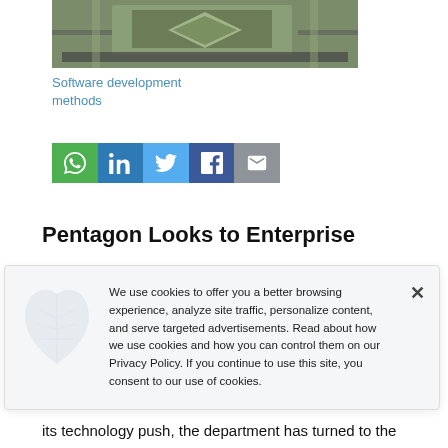[Figure (photo): Aerial photograph of the Pentagon building and surrounding grounds]
Software development methods
[Figure (other): Social sharing bar with WhatsApp, LinkedIn, Twitter, Facebook, and Email buttons]
Pentagon Looks to Enterprise
We use cookies to offer you a better browsing experience, analyze site traffic, personalize content, and serve targeted advertisements. Read about how we use cookies and how you can control them on our Privacy Policy. If you continue to use this site, you consent to our use of cookies.
its technology push, the department has turned to the